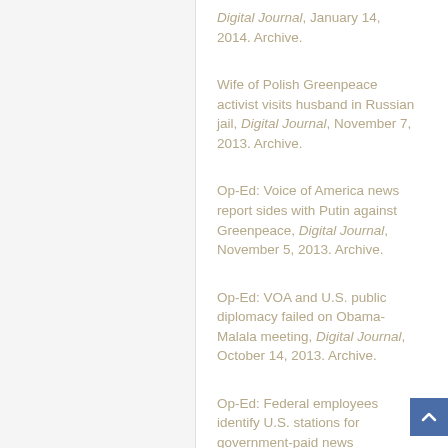Digital Journal, January 14, 2014. Archive.
Wife of Polish Greenpeace activist visits husband in Russian jail, Digital Journal, November 7, 2013. Archive.
Op-Ed: Voice of America news report sides with Putin against Greenpeace, Digital Journal, November 5, 2013. Archive.
Op-Ed: VOA and U.S. public diplomacy failed on Obama-Malala meeting, Digital Journal, October 14, 2013. Archive.
Op-Ed: Federal employees identify U.S. stations for government-paid news SPECIAL, Digital Journal, July 27, 2013. Archive.